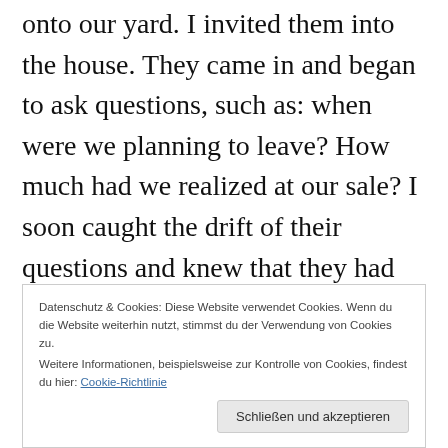onto our yard. I invited them into the house. They came in and began to ask questions, such as: when were we planning to leave? How much had we realized at our sale? I soon caught the drift of their questions and knew that they had come to find out what I was going to do with the money that we had in excess of what we were legally allowed to take out of the country? They were young and inexperienced, the name of one was Wasmuss, unknown to me but definitely not ill-natured. I answered all their questions, though sometimes
Datenschutz & Cookies: Diese Website verwendet Cookies. Wenn du die Website weiterhin nutzt, stimmst du der Verwendung von Cookies zu. Weitere Informationen, beispielsweise zur Kontrolle von Cookies, findest du hier: Cookie-Richtlinie
Schließen und akzeptieren